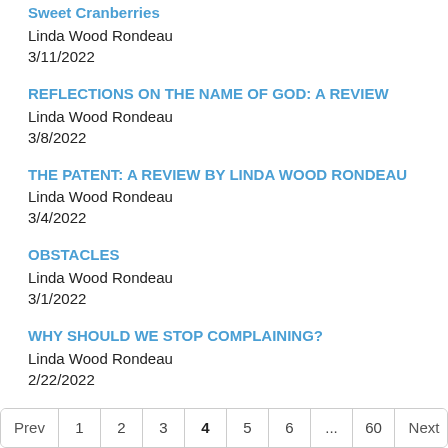Sweet Cranberries
Linda Wood Rondeau
3/11/2022
REFLECTIONS ON THE NAME OF GOD: A REVIEW
Linda Wood Rondeau
3/8/2022
THE PATENT: A REVIEW BY LINDA WOOD RONDEAU
Linda Wood Rondeau
3/4/2022
OBSTACLES
Linda Wood Rondeau
3/1/2022
WHY SHOULD WE STOP COMPLAINING?
Linda Wood Rondeau
2/22/2022
Prev 1 2 3 4 5 6 ... 60 Next